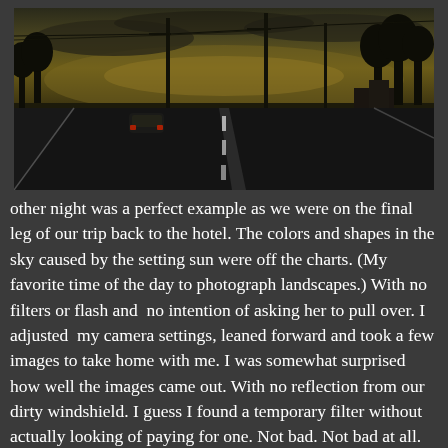[Figure (photo): A dark dusk/twilight photograph taken from inside a moving car through the windshield. A road stretches ahead with a white dashed center line, a car visible ahead on the left lane. Utility poles line the right side of the road, trees silhouetted against a dark golden-green sunset sky. Buildings visible on the right. Overall image is very dark and moody.]
other night was a perfect example as we were on the final leg of our trip back to the hotel. The colors and shapes in the sky caused by the setting sun were off the charts. (My favorite time of the day to photograph landscapes.) With no filters or flash and no intention of asking her to pull over. I adjusted my camera settings, leaned forward and took a few images to take home with me. I was somewhat surprised how well the images came out. With no reflection from our dirty windshield. I guess I found a temporary filter without actually looking of paying for one. Not bad. Not bad at all.